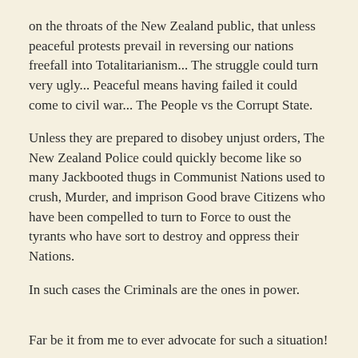on the throats of the New Zealand public, that unless peaceful protests prevail in reversing our nations freefall into Totalitarianism... The struggle could turn very ugly... Peaceful means having failed it could come to civil war... The People vs the Corrupt State.
Unless they are prepared to disobey unjust orders, The New Zealand Police could quickly become like so many Jackbooted thugs in Communist Nations used to crush, Murder, and imprison Good brave Citizens who have been compelled to turn to Force to oust the tyrants who have sort to destroy and oppress their Nations.
In such cases the Criminals are the ones in power.

Far be it from me to ever advocate for such a situation!